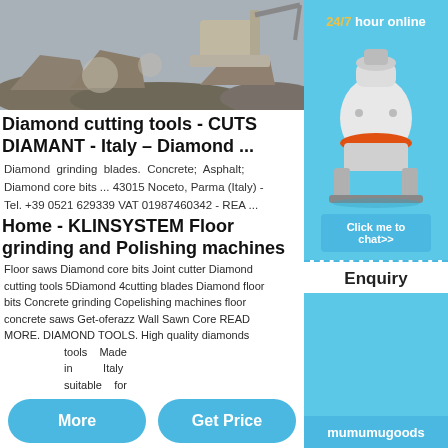[Figure (photo): Construction/mining scene with rocks, machinery, and a diamond cutting excavator in operation.]
Diamond cutting tools - CUTS DIAMANT - Italy – Diamond ...
Diamond grinding blades. Concrete; Asphalt; Diamond core bits ... 43015 Noceto, Parma (Italy) - Tel. +39 0521 629339 VAT 01987460342 - REA ...
Home - KLINSYSTEM Floor grinding and Polishing machines
Floor saws Diamond core bits Joint cutter Diamond cutting tools 5Diamond cutting blades Diamond floor bits Concrete grinding Copelishing machines floor concrete saws Get-oferazz Wall Sawn Core READ MORE. DIAMOND TOOLS. High quality diamonds tools Made in Italy suitable for
More
Get Price
[Figure (photo): Industrial cone crusher machine, white and red, shown in the right sidebar panel.]
24/7 hour online
Click me to chat>>
Enquiry
mumumugoods